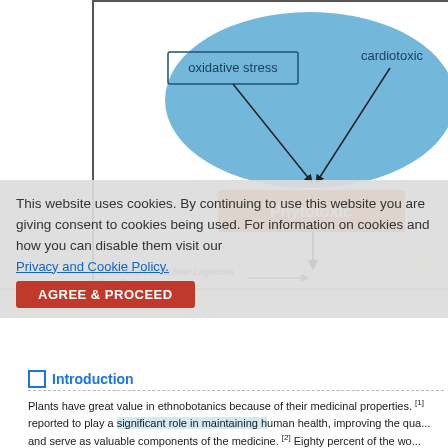[Figure (other): Partial scientific diagram showing an oval blue shape labeled with 'oxidative stress' and 'cardiotoxic', connected by arrows to an orange rectangle labeled 'Phytotoxic'. Below the diagram is a mouse image and italic text reading 'whole fruit extract from Lagenaria breviflora'.]
This website uses cookies. By continuing to use this website you are giving consent to cookies being used. For information on cookies and how you can disable them visit our Privacy and Cookie Policy.
[Figure (other): Red button labeled 'AGREE & PROCEED']
Introduction
Plants have great value in ethnobotanics because of their medicinal properties. [1] reported to play a significant role in maintaining human health, improving the qua... and serve as valuable components of the medicine. [2] Eighty percent of the wo... relies on medicinal plants because of their assumed minimal side effects and low...